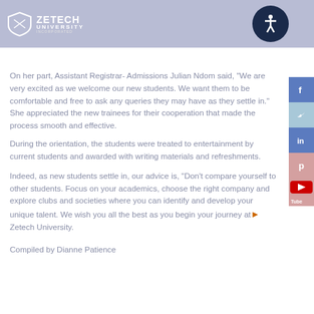ZETECH UNIVERSITY
On her part, Assistant Registrar- Admissions Julian Ndom said, “We are very excited as we welcome our new students. We want them to be comfortable and free to ask any queries they may have as they settle in.” She appreciated the new trainees for their cooperation that made the process smooth and effective.
During the orientation, the students were treated to entertainment by current students and awarded with writing materials and refreshments.
Indeed, as new students settle in, our advice is, “Don’t compare yourself to other students. Focus on your academics, choose the right company and explore clubs and societies where you can identify and develop your unique talent. We wish you all the best as you begin your journey at Zetech University.
Compiled by Dianne Patience